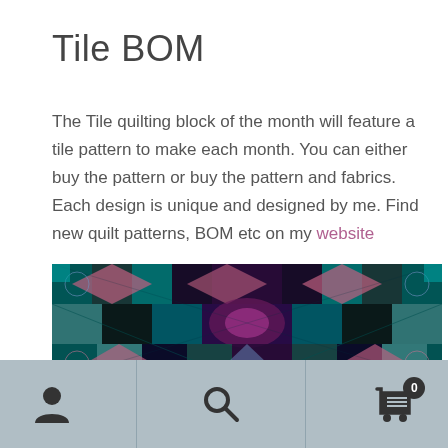Tile BOM
The Tile quilting block of the month will feature a tile pattern to make each month. You can either buy the pattern or buy the pattern and fabrics. Each design is unique and designed by me. Find new quilt patterns, BOM etc on my website
[Figure (photo): A colorful tile quilt pattern with teal, black, pink, and blue geometric and floral designs arranged in a symmetrical patchwork layout]
Navigation bar with user icon, search icon, and cart icon with badge 0